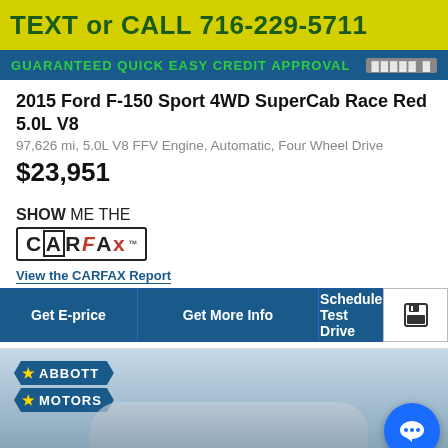[Figure (photo): Dealership banner ad with yellow background showing 'TEXT or CALL 716-229-5711' in green/dark text, and below it a dark blue bar reading 'GUARANTEED QUICK EASY CREDIT APPROVAL' with a credit logo]
2015 Ford F-150 Sport 4WD SuperCab Race Red 5.0L V8
97,626 mi, 5.0L V8 FFV Engine, Automatic, Four Wheel Drive
$23,951
[Figure (logo): CARFAX logo with 'SHOW ME THE CARFAX' text and the CARFAX logo box with trademark symbol]
View the CARFAX Report
Get E-price | Get More Info | Schedule Test Drive | Save button
[Figure (photo): Dealership photo showing Abbott Motors sign with cars in a parking lot under overcast sky, with a blue chat button overlay]